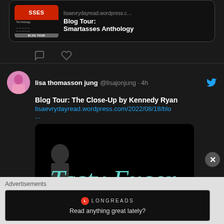[Figure (screenshot): Twitter/social media screenshot showing a blog tour link card for Smartasses Anthology with URL lisaevrydayread.wordpress.c...]
lisaevrydayread.wordpress.c...
Blog Tour:
Smartasses Anthology
[Figure (screenshot): Tweet by lisa thomasson jung @lisajonjung · 4h with Twitter bird icon. Text: Blog Tour: The Close-Up by Kennedy Ryan. Link: lisaevrydayread.wordpress.com/2022/08/18/blo ...]
lisa thomasson jung @lisajonjung · 4h
Blog Tour: The Close-Up by Kennedy Ryan
lisaevrydayread.wordpress.com/2022/08/18/blo
...
[Figure (photo): Black image with teal cursive text reading 'Tasty Excer' (partial, cut off)]
Advertisements
[Figure (screenshot): Longreads advertisement with logo and tagline: Read anything great lately?]